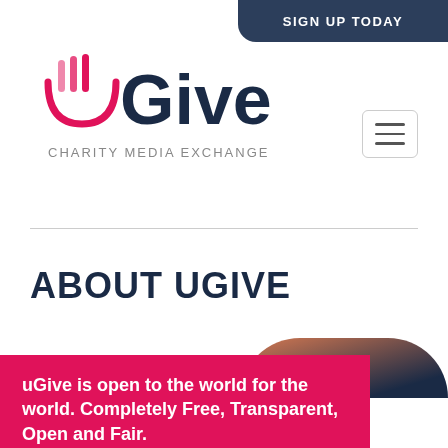SIGN UP TODAY
[Figure (logo): uGive Charity Media Exchange logo with stylized hand icon in pink and dark navy text]
ABOUT UGIVE
[Figure (photo): Partial circular photo of a person, cropped at page edge]
uGive is open to the world for the world. Completely Free, Transparent, Open and Fair.
We wanted to create an ethical platform that